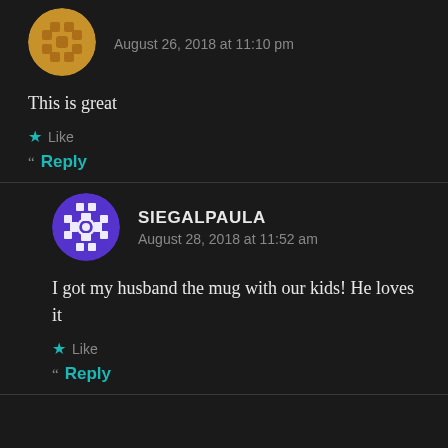August 26, 2018 at 11:10 pm
This is great
Like
Reply
SIEGALPAULA
August 28, 2018 at 11:52 am
I got my husband the mug with our kids! He loves it
Like
Reply